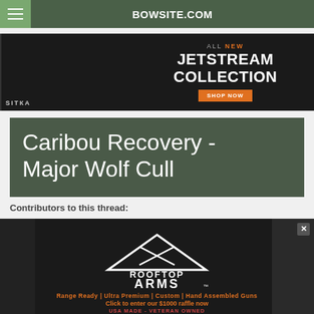BOWSITE.COM
[Figure (photo): SITKA Gear advertisement banner showing hunters in camouflage with text 'ALL NEW JETSTREAM COLLECTION SHOP NOW']
Caribou Recovery - Major Wolf Cull
Contributors to this thread:
[Figure (photo): Rooftop Arms advertisement banner showing rifles with logo and text 'Range Ready | Ultra Premium | Custom | Hand Assembled Guns - Click to enter our $1000 raffle now - USA MADE - VETERAN OWNED']